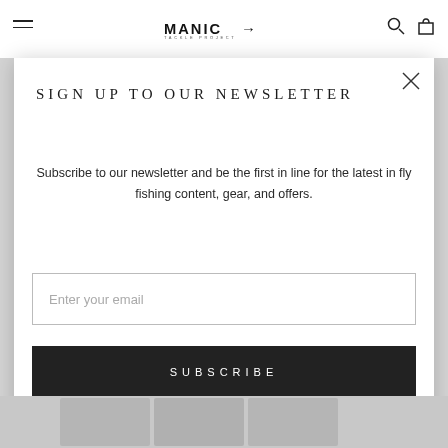[Figure (screenshot): Website header with Manic Tackle Project logo, hamburger menu icon on left, search and cart icons on right, product image (light grey shirt/hat) in background]
SIGN UP TO OUR NEWSLETTER
Subscribe to our newsletter and be the first in line for the latest in fly fishing content, gear, and offers.
Enter your email
SUBSCRIBE